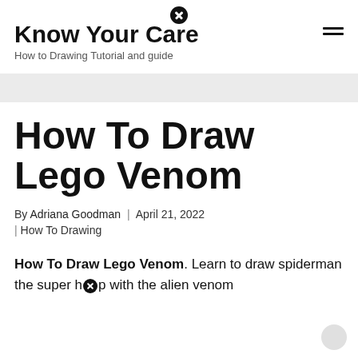Know Your Care
How to Drawing Tutorial and guide
How To Draw Lego Venom
By Adriana Goodman | April 21, 2022 | How To Drawing
How To Draw Lego Venom. Learn to draw spiderman the super hero with the alien venom